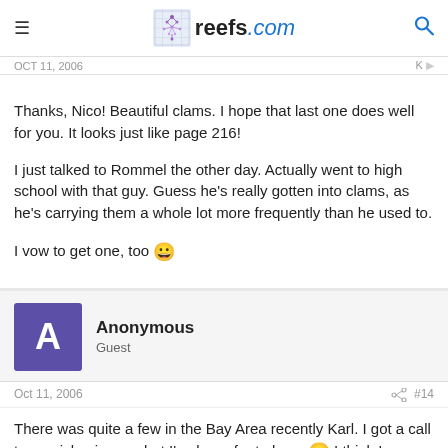reefs.com
OCT 11, 2006
Thanks, Nico! Beautiful clams. I hope that last one does well for you. It looks just like page 216!

I just talked to Rommel the other day. Actually went to high school with that guy. Guess he's really gotten into clams, as he's carrying them a whole lot more frequently than he used to.

I vow to get one, too 😀
Anonymous
Guest
Oct 11, 2006 #14
There was quite a few in the Bay Area recently Karl. I got a call to go pick mine up, but I've been far to busy 😕 I think I missed my chance, this time around 😕 I would have posted